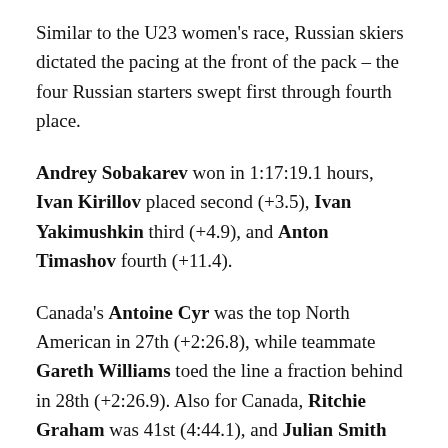Similar to the U23 women's race, Russian skiers dictated the pacing at the front of the pack – the four Russian starters swept first through fourth place.
Andrey Sobakarev won in 1:17:19.1 hours, Ivan Kirillov placed second (+3.5), Ivan Yakimushkin third (+4.9), and Anton Timashov fourth (+11.4).
Canada's Antoine Cyr was the top North American in 27th (+2:26.8), while teammate Gareth Williams toed the line a fraction behind in 28th (+2:26.9). Also for Canada, Ritchie Graham was 41st (4:44.1), and Julian Smith 45th (+5:14.3).